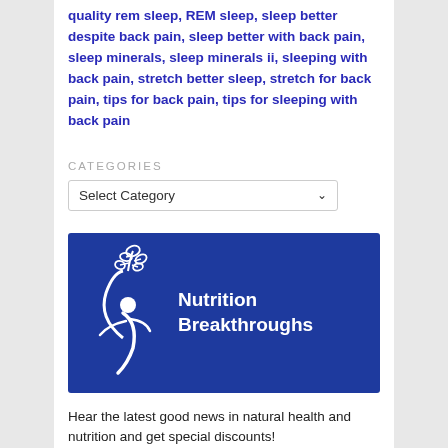quality rem sleep, REM sleep, sleep better despite back pain, sleep better with back pain, sleep minerals, sleep minerals ii, sleeping with back pain, stretch better sleep, stretch for back pain, tips for back pain, tips for sleeping with back pain
CATEGORIES
[Figure (other): Dropdown widget labeled 'Select Category' with a downward chevron arrow on the right side]
[Figure (logo): Nutrition Breakthroughs banner on blue background with white figure and plant illustration logo on the left, and white bold text 'Nutrition Breakthroughs' on the right]
Hear the latest good news in natural health and nutrition and get special discounts!